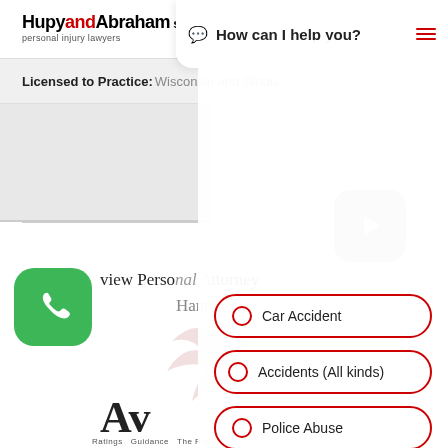[Figure (screenshot): Hupy and Abraham personal injury lawyers logo in top-left corner]
[Figure (screenshot): Chat overlay with 'How can I help you?' text and hamburger menu in top-right]
Licensed to Practice: Wisconsin and Illinois
[Figure (screenshot): Video play button (gray rounded rectangle with play triangle)]
[Figure (screenshot): Green phone call button (rounded square with phone icon)]
view Personal Attorney Hannah Dockendorff
[Figure (screenshot): Chatbot menu overlay with three options: Car Accident, Accidents (All kinds), Police Abuse]
Car Accident
Accidents (All kinds)
Police Abuse
[Figure (logo): AV Ratings Guidance The Right Lawyer logo at bottom]
Ratings  Guidance  The Right Lawyer